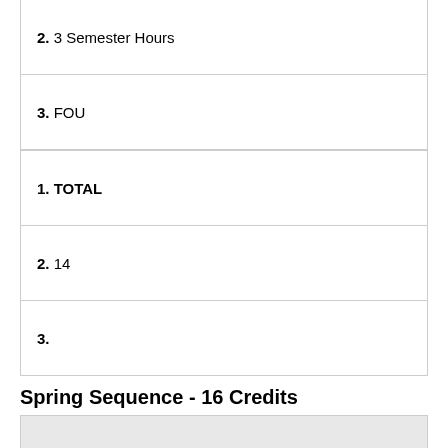2. 3 Semester Hours
3. FOU
1. TOTAL
2. 14
3.
Spring Sequence - 16 Credits
1. COURSE
2. CREDITS